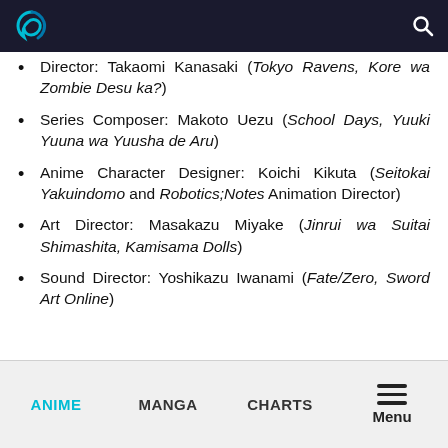[Logo] [Search icon]
Director: Takaomi Kanasaki (Tokyo Ravens, Kore wa Zombie Desu ka?)
Series Composer: Makoto Uezu (School Days, Yuuki Yuuna wa Yuusha de Aru)
Anime Character Designer: Koichi Kikuta (Seitokai Yakuindomo and Robotics;Notes Animation Director)
Art Director: Masakazu Miyake (Jinrui wa Suitai Shimashita, Kamisama Dolls)
Sound Director: Yoshikazu Iwanami (Fate/Zero, Sword Art Online)
ANIME  MANGA  CHARTS  Menu